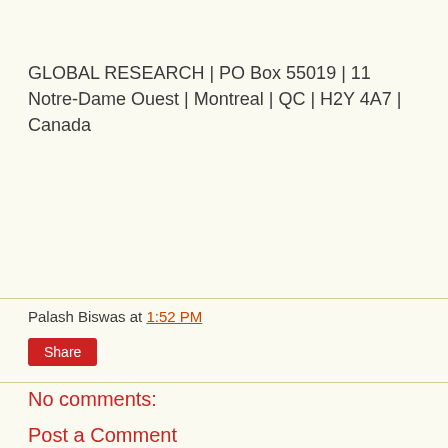GLOBAL RESEARCH | PO Box 55019 | 11 Notre-Dame Ouest | Montreal | QC | H2Y 4A7 | Canada
Palash Biswas at 1:52 PM
Share
No comments:
Post a Comment